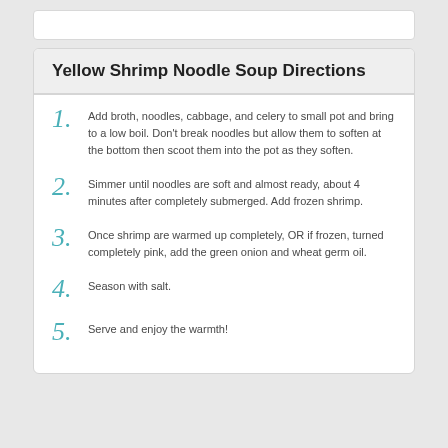Yellow Shrimp Noodle Soup Directions
1. Add broth, noodles, cabbage, and celery to small pot and bring to a low boil. Don't break noodles but allow them to soften at the bottom then scoot them into the pot as they soften.
2. Simmer until noodles are soft and almost ready, about 4 minutes after completely submerged. Add frozen shrimp.
3. Once shrimp are warmed up completely, OR if frozen, turned completely pink, add the green onion and wheat germ oil.
4. Season with salt.
5. Serve and enjoy the warmth!